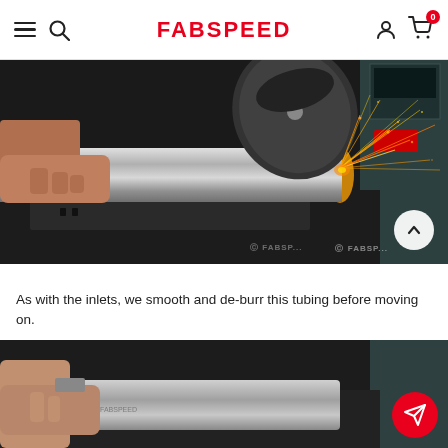FABSPEED
[Figure (photo): A person holding a metal tube while a large grinding/cutting disc cuts through it, producing bright orange sparks flying outward. The scene is a metal fabrication workshop with tools and a digital readout visible in the background. A FABSPEED watermark appears in the lower right.]
As with the inlets, we smooth and de-burr this tubing before moving on.
[Figure (photo): Close-up of a person's hand working on smoothing or de-burring a metal tube/component on a workbench in a fabrication shop.]